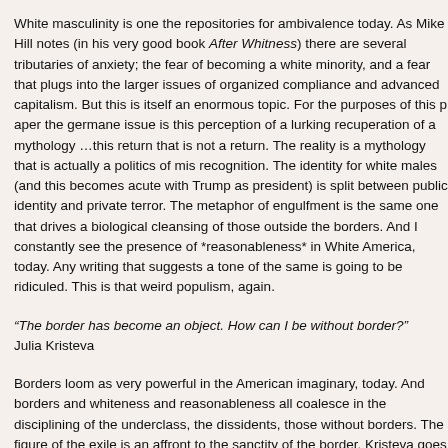White masculinity is one the repositories for ambivalence today. As Mike Hill notes (in his very good book After Whitness) there are several tributaries of anxiety; the fear of becoming a white minority, and a fear that plugs into the larger issues of organized compliance and advanced capitalism. But this is itself an enormous topic. For the purposes of this paper the germane issue is this perception of a lurking recuperation of a mythology …this return that is not a return. The reality is a mythology that is actually a politics of mis recognition. The identity for white males (and this becomes acute with Trump as president) is split between public identity and private terror. The metaphor of engulfment is the same one that drives a biological cleansing of those outside the borders. And I constantly see the presence of *reasonableness* in White America, today. Any writing that suggests a tone of the s[ame] is going to be ridiculed. This is that weird populism, again.
“The border has become an object. How can I be without border?”
Julia Kristeva
Borders loom as very powerful in the American imaginary, today. And borders and whiteness and reasonableness all coalesce in the disciplining of the underclass, the dissidents, those without borders. The figure of the exile is an affront to the sanctity of the border. Kristeva goes on to describe abjection as a more violent form of uncanniness, where the shapes of memory are unrecognizable. Aggression is now driven by an unrecognizable mythology. A sort of faux mythology, but one that reproduces a version of 20th century fascism. Klaus Theweleit remains so relevant. It is unrecognized, but those driven by it, by anxiety and ambivalence, pretend to recognize it. Pretend it *is* recognizable, even as it is repr[essed].